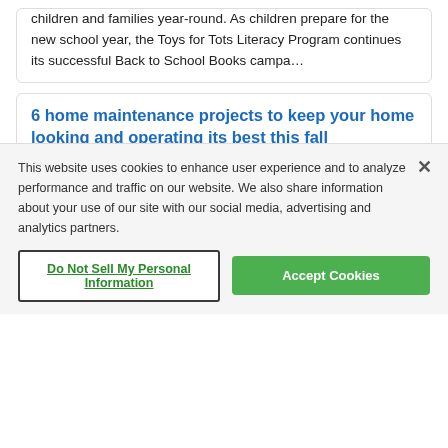children and families year-round. As children prepare for the new school year, the Toys for Tots Literacy Program continues its successful Back to School Books campa…
6 home maintenance projects to keep your home looking and operating its best this fall
Brandpoint (BPT)   Updated Aug 26, 2022
(BPT) - Fall is the perfect season to enjoy apple picking, pie making and everything pumpkin spice. The cooler weather will have many finding themselves embarking on fall foliage hikes and festive...
This website uses cookies to enhance user experience and to analyze performance and traffic on our website. We also share information about your use of our site with our social media, advertising and analytics partners.
Do Not Sell My Personal Information
Accept Cookies